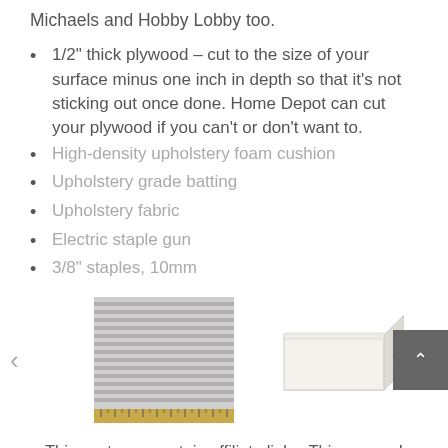Michaels and Hobby Lobby too.
1/2" thick plywood – cut to the size of your surface minus one inch in depth so that it's not sticking out once done. Home Depot can cut your plywood if you can't or don't want to.
High-density upholstery foam cushion
Upholstery grade batting
Upholstery fabric
Electric staple gun
3/8" staples, 10mm
[Figure (photo): Two photos side by side: a striped upholstery fabric swatch with a ruler below it, and a white foam cushion block. Navigation arrows on either side and a grey scroll-to-top button on the right.]
This post may contain affiliate links. This means I may receive a small